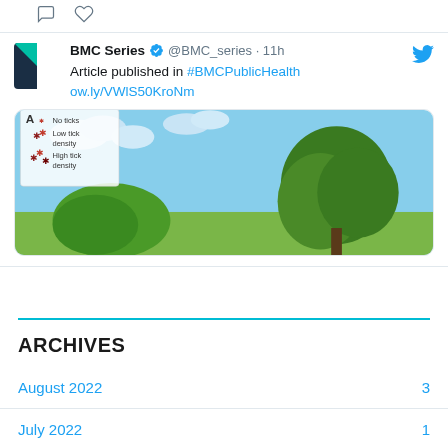[Figure (screenshot): Twitter/X social media post from BMC Series (@BMC_series) posted 11h ago, showing an article published in #BMCPublicHealth with link ow.ly/VWlS50KroNm, and an attached illustration showing a nature scene with tick density legend (No ticks, Low tick density, High tick density).]
ARCHIVES
August 2022    3
July 2022    1